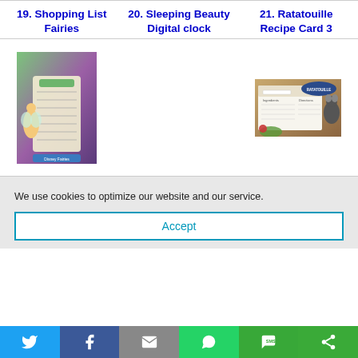19. Shopping List Fairies
20. Sleeping Beauty Digital clock
21. Ratatouille Recipe Card 3
[Figure (photo): Tinkerbell themed shopping list printable with fairy characters and floral design]
[Figure (photo): Ratatouille themed recipe card with Remy rat character and cooking ingredients]
We use cookies to optimize our website and our service.
Accept